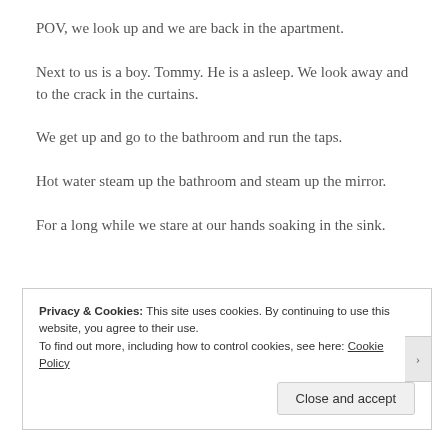POV, we look up and we are back in the apartment.
Next to us is a boy. Tommy. He is a asleep. We look away and to the crack in the curtains.
We get up and go to the bathroom and run the taps.
Hot water steam up the bathroom and steam up the mirror.
For a long while we stare at our hands soaking in the sink.
Privacy & Cookies: This site uses cookies. By continuing to use this website, you agree to their use. To find out more, including how to control cookies, see here: Cookie Policy